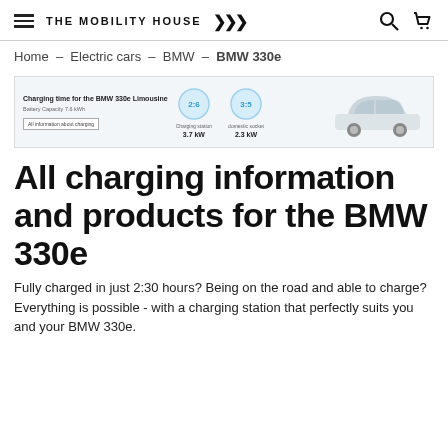THE MOBILITY HOUSE
Home - Electric cars - BMW - BMW 330e
[Figure (infographic): Charging time infographic for the BMW 330e Limousine. Battery Capacity 7.6 kWh. Two circular gauges showing charging times: Charging station 3.7 kW and domestic socket 2.3 kW. Image of a white BMW 330e car.]
All charging information and products for the BMW 330e
Fully charged in just 2:30 hours? Being on the road and able to charge? Everything is possible - with a charging station that perfectly suits you and your BMW 330e.